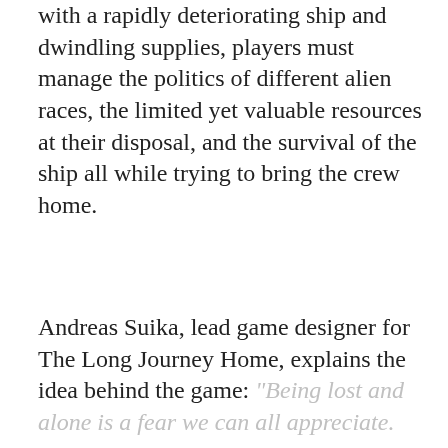with a rapidly deteriorating ship and dwindling supplies, players must manage the politics of different alien races, the limited yet valuable resources at their disposal, and the survival of the ship all while trying to bring the crew home.
Andreas Suika, lead game designer for The Long Journey Home, explains the idea behind the game: "Being lost and alone is a fear we can all appreciate.
Read more
[Figure (screenshot): Video thumbnail bar showing The Long Journey Home - Console ... with a circular logo on the left and three-dot menu on the right on a dark background. Daedalic logo visible top right.]
[Figure (other): Social media share buttons: Facebook (f), Twitter (bird), LinkedIn (in) as blue circles]